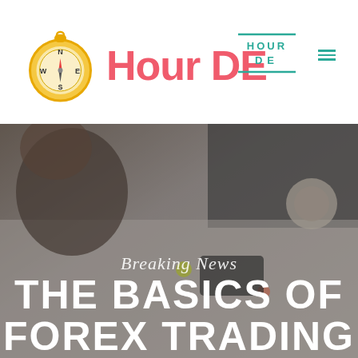[Figure (logo): Compass logo icon — gold/yellow compass with N, S, E, W markers and a red needle, on a white background]
Hour DE
[Figure (logo): Mini 'HOUR DE' brand logo in teal/green with two horizontal lines above and below, plus a hamburger menu icon]
[Figure (photo): Background hero photo showing a person working at a desk with a laptop, coffee cup, and papers, in a muted/desaturated tone]
Breaking News
THE BASICS OF FOREX TRADING